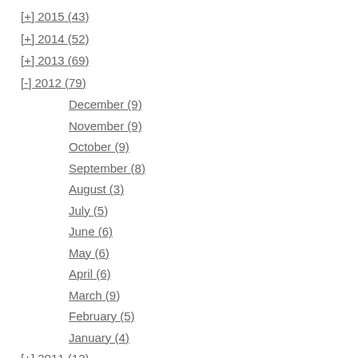[+] 2015 (43)
[+] 2014 (52)
[+] 2013 (69)
[-] 2012 (79)
December (9)
November (9)
October (9)
September (8)
August (3)
July (5)
June (6)
May (6)
April (6)
March (9)
February (5)
January (4)
[+] 2011 (12)